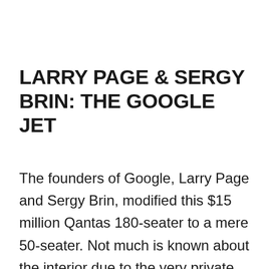LARRY PAGE & SERGY BRIN: THE GOOGLE JET
The founders of Google, Larry Page and Sergy Brin, modified this $15 million Qantas 180-seater to a mere 50-seater. Not much is known about the interior due to the very private nature of the owners, but we do know that it was designed by renowned airplane interior designer (yes, that's a real